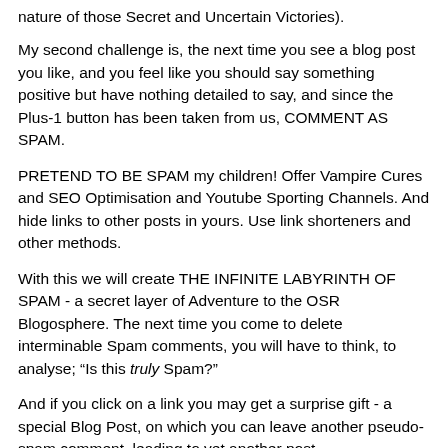nature of those Secret and Uncertain Victories).
My second challenge is, the next time you see a blog post you like, and you feel like you should say something positive but have nothing detailed to say, and since the Plus-1 button has been taken from us, COMMENT AS SPAM.
PRETEND TO BE SPAM my children! Offer Vampire Cures and SEO Optimisation and Youtube Sporting Channels. And hide links to other posts in yours. Use link shorteners and other methods.
With this we will create THE INFINITE LABYRINTH OF SPAM - a secret layer of Adventure to the OSR Blogosphere. The next time you come to delete interminable Spam comments, you will have to think, to analyse; "Is this truly Spam?"
And if you click on a link you may get a surprise gift - a special Blog Post, on which you can leave another pseudo-spam comment, leading to yet another post.